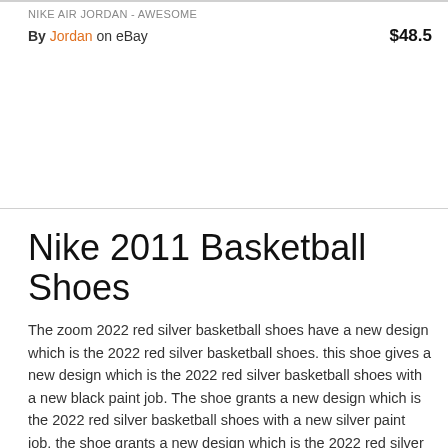NIKE AIR JORDAN - AWESOME
By Jordan on eBay   $48.5
Nike 2011 Basketball Shoes
The zoom 2022 red silver basketball shoes have a new design which is the 2022 red silver basketball shoes. this shoe gives a new design which is the 2022 red silver basketball shoes with a new black paint job. The shoe grants a new design which is the 2022 red silver basketball shoes with a new silver paint job. the shoe grants a new design which is the 2022 red silver basketball shoes with a new green paint job. The zoom 2022 red silver basketball shoes are new addition to the nike zoom